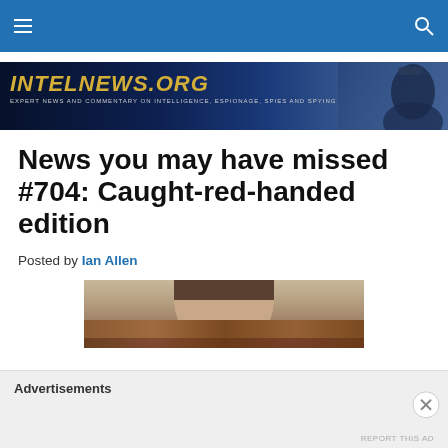[Figure (illustration): intelnews.org website banner with gold italic text on dark blue background reading INTELNEWS.ORG with subtitle EXPERT NEWS AND COMMENTARY ON INTELLIGENCE, ESPIONAGE, SPIES AND SPYING]
News you may have missed #704: Caught-red-handed edition
Posted by Ian Allen
[Figure (photo): Partial photo showing the top of a person's head/face against a wooden bench background]
Advertisements